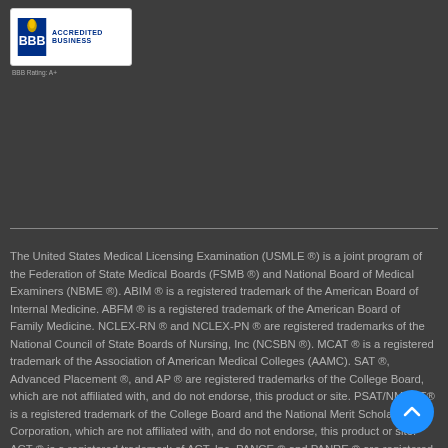[Figure (logo): BBB Accredited Business badge with torch logo and BBB Rating A+ text]
The United States Medical Licensing Examination (USMLE ®) is a joint program of the Federation of State Medical Boards (FSMB ®) and National Board of Medical Examiners (NBME ®). ABIM ® is a registered trademark of the American Board of Internal Medicine. ABFM ® is a registered trademark of the American Board of Family Medicine. NCLEX-RN ® and NCLEX-PN ® are registered trademarks of the National Council of State Boards of Nursing, Inc (NCSBN ®). MCAT ® is a registered trademark of the Association of American Medical Colleges (AAMC). SAT ®, Advanced Placement ®, and AP ® are registered trademarks of the College Board, which are not affiliated with, and do not endorse, this product or site. PSAT/NMSQT® is a registered trademark of the College Board and the National Merit Scholarship Corporation, which are not affiliated with, and do not endorse, this product or site. ACT ® is a registered trademark of ACT, Inc. PANCE ® and PANRE ® are registered trademarks of the National Commission on Certification of Physician Assistants. NCCPA ® is a registered trademark of